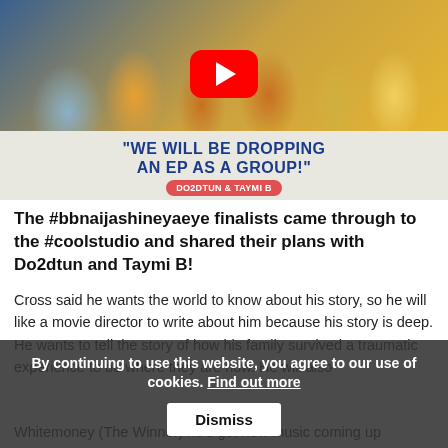[Figure (photo): YouTube video thumbnail showing a group of people (BBNaija Shine Ya Eye finalists) with a red YouTube play button in the center, and text overlay reading 'WE WILL BE DROPPING AN EP AS A GROUP!' with 'DO2DTUN & TAYMI B' badge below]
The #bbnaijashineyaeye finalists came through to the #coolstudio and shared their plans with Do2dtun and Taymi B!
Cross said he wants the world to know about his story, so he will like a movie director to write about him because his story is deep. He wants to tell the story of how his family survived a traumatic experience to be where they are now. He will also
Whitemoney (The Winner) he's got new music coming up
By continuing to use this website, you agree to our use of cookies. Find out more  Dismiss